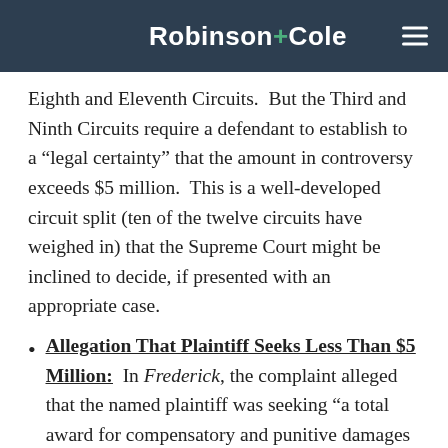Robinson+Cole
Eighth and Eleventh Circuits.  But the Third and Ninth Circuits require a defendant to establish to a “legal certainty” that the amount in controversy exceeds $5 million.  This is a well-developed circuit split (ten of the twelve circuits have weighed in) that the Supreme Court might be inclined to decide, if presented with an appropriate case.
Allegation That Plaintiff Seeks Less Than $5 Million:  In Frederick, the complaint alleged that the named plaintiff was seeking “a total award for compensatory and punitive damages [that] does not exceed $4,999,999.99.”  Id. at *1.  The district